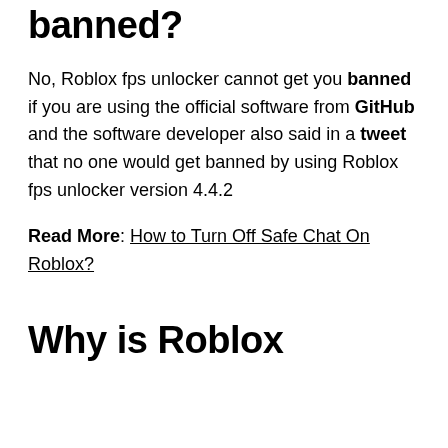banned?
No, Roblox fps unlocker cannot get you banned if you are using the official software from GitHub and the software developer also said in a tweet that no one would get banned by using Roblox fps unlocker version 4.4.2
Read More: How to Turn Off Safe Chat On Roblox?
Why is Roblox